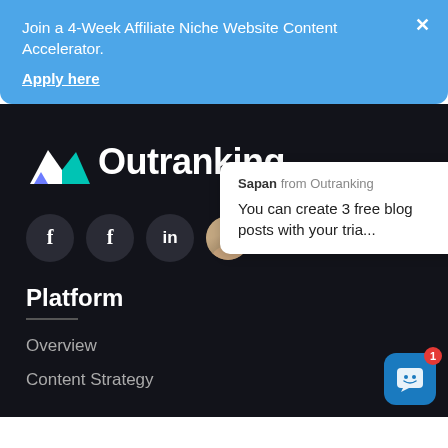[Figure (screenshot): Blue notification banner with text 'Join a 4-Week Affiliate Niche Website Content Accelerator.' and 'Apply here' link with close X button]
[Figure (logo): Outranking logo: mountain/flag icon in teal and blue-purple, followed by the word 'Outranking' in white bold text]
[Figure (screenshot): Three dark circular social media buttons (f, f, in) and a chat popup from 'Sapan from Outranking' saying 'You can create 3 free blog posts with your tria...']
Platform
Overview
Content Strategy